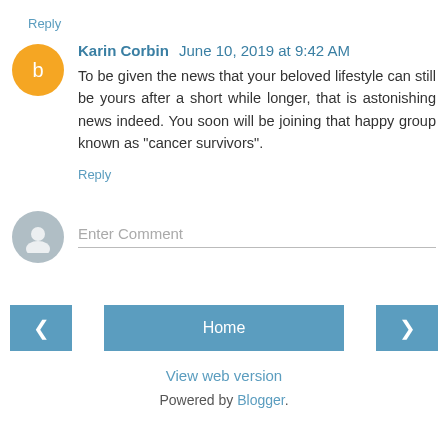Reply
Karin Corbin  June 10, 2019 at 9:42 AM
To be given the news that your beloved lifestyle can still be yours after a short while longer, that is astonishing news indeed. You soon will be joining that happy group known as "cancer survivors".
Reply
Enter Comment
< Home >
View web version
Powered by Blogger.